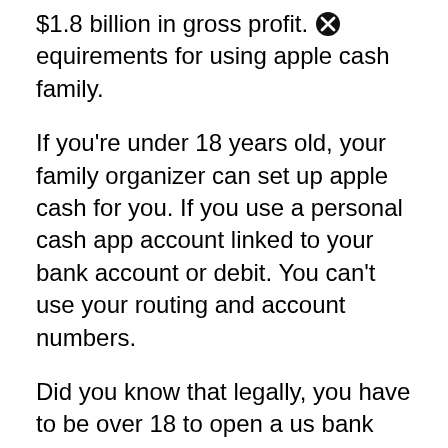$1.8 billion in gross profit. [icon] Requirements for using apple cash family.
If you're under 18 years old, your family organizer can set up apple cash for you. If you use a personal cash app account linked to your bank account or debit. You can't use your routing and account numbers.
Did you know that legally, you have to be over 18 to open a us bank account or use apps like paypal, venmo, and cashapp? Enter an email address, phone number, or $cashtag. That allows users to transfer money to one another using a mobile phone app.
It made its name as the [icon] referred digital wallet and